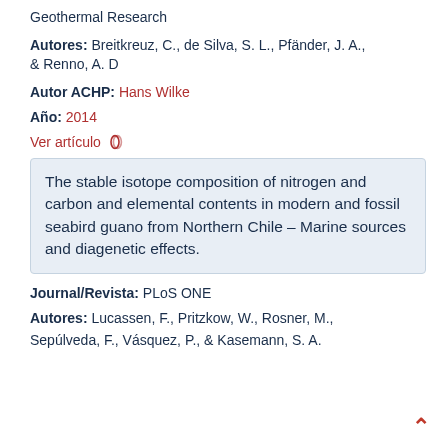Geothermal Research
Autores: Breitkreuz, C., de Silva, S. L., Pfänder, J. A., & Renno, A. D
Autor ACHP: Hans Wilke
Año: 2014
Ver artículo 🖇
The stable isotope composition of nitrogen and carbon and elemental contents in modern and fossil seabird guano from Northern Chile – Marine sources and diagenetic effects.
Journal/Revista: PLoS ONE
Autores: Lucassen, F., Pritzkow, W., Rosner, M., Sepúlveda, F., Vásquez, P., & Kasemann, S. A.